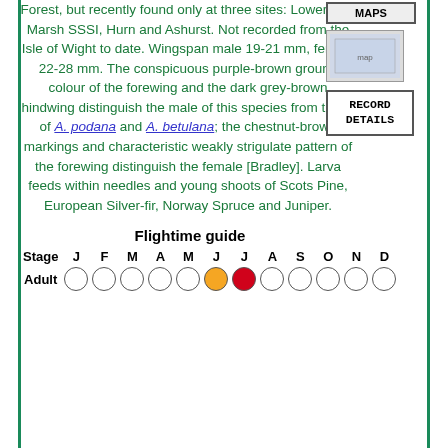Forest, but recently found only at three sites: Lower Test Marsh SSSI, Hurn and Ashurst. Not recorded from the Isle of Wight to date. Wingspan male 19-21 mm, female 22-28 mm. The conspicuous purple-brown ground colour of the forewing and the dark grey-brown hindwing distinguish the male of this species from those of A. podana and A. betulana; the chestnut-brown markings and characteristic weakly strigulate pattern of the forewing distinguish the female [Bradley]. Larva feeds within needles and young shoots of Scots Pine, European Silver-fir, Norway Spruce and Juniper.
[Figure (other): MAPS button with map thumbnail image]
[Figure (other): RECORD DETAILS button]
| Stage | J | F | M | A | M | J | J | A | S | O | N | D |
| --- | --- | --- | --- | --- | --- | --- | --- | --- | --- | --- | --- | --- |
| Adult | ○ | ○ | ○ | ○ | ○ | ◑ | ● | ○ | ○ | ○ | ○ | ○ |